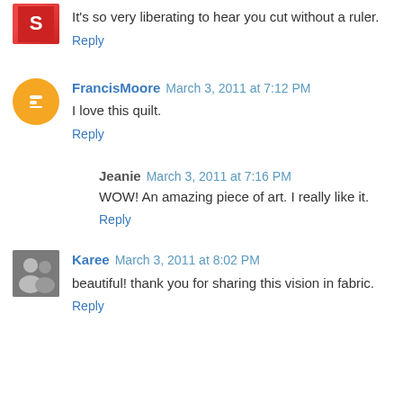[Figure (photo): Small avatar image with red/orange design, top left corner partially visible]
It's so very liberating to hear you cut without a ruler.
Reply
[Figure (illustration): Orange circle Blogger avatar icon with white B-like symbol]
FrancisMoore  March 3, 2011 at 7:12 PM
I love this quilt.
Reply
Jeanie  March 3, 2011 at 7:16 PM
WOW! An amazing piece of art. I really like it.
Reply
[Figure (photo): Small photo avatar of two people (man and woman)]
Karee  March 3, 2011 at 8:02 PM
beautiful! thank you for sharing this vision in fabric.
Reply